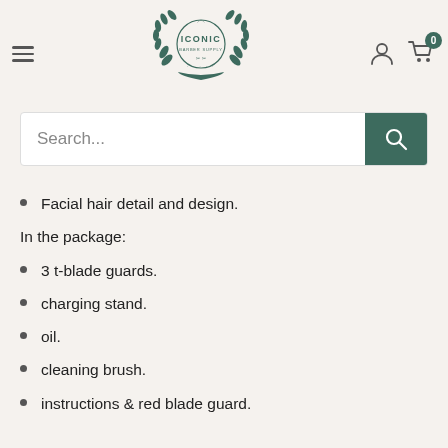[Figure (logo): Iconic Barber Supply logo with laurel wreath, scissor icon, and bird at top, dark green color]
Facial hair detail and design.
In the package:
3 t-blade guards.
charging stand.
oil.
cleaning brush.
instructions & red blade guard.